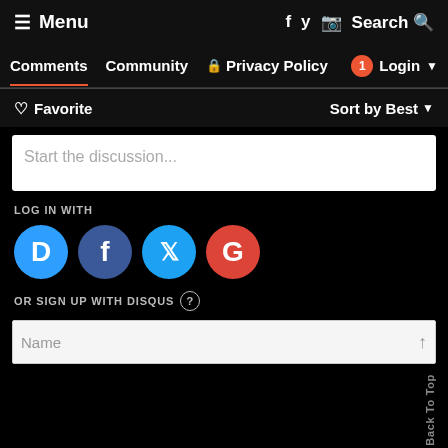≡ Menu   f  y  ⊠  Search Q
Comments   Community   🔒 Privacy Policy   1  Login ▾
♡ Favorite   Sort by Best ▾
Start the discussion...
LOG IN WITH
[Figure (infographic): Four social login icons: Disqus (blue), Facebook (dark blue), Twitter (light blue), Google (red)]
OR SIGN UP WITH DISQUS ?
Name
Back To Top
Be the first to comment.